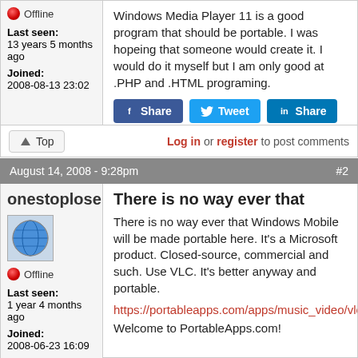Windows Media Player 11 is a good program that should be portable. I was hopeing that someone would create it. I would do it myself but I am only good at .PHP and .HTML programing.
Offline
Last seen: 13 years 5 months ago
Joined: 2008-08-13 23:02
Log in or register to post comments
August 14, 2008 - 9:28pm
#2
onestoploser
Offline
Last seen: 1 year 4 months ago
Joined: 2008-06-23 16:09
There is no way ever that
There is no way ever that Windows Mobile will be made portable here. It's a Microsoft product. Closed-source, commercial and such. Use VLC. It's better anyway and portable.
https://portableapps.com/apps/music_video/vlc_portable
Welcome to PortableApps.com!